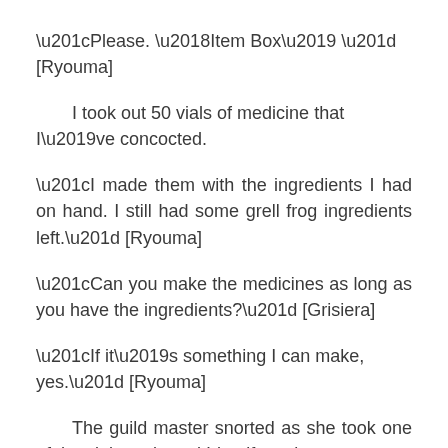“Please. ‘Item Box’ ” [Ryouma]
I took out 50 vials of medicine that I’ve concocted.
“I made them with the ingredients I had on hand. I still had some grell frog ingredients left.” [Ryouma]
“Can you make the medicines as long as you have the ingredients?” [Grisiera]
“If it’s something I can make, yes.” [Ryouma]
The guild master snorted as she took one of the vials and used Identify on it.
“Was there a medicine on the list that you can’t make?” [Grisiera]